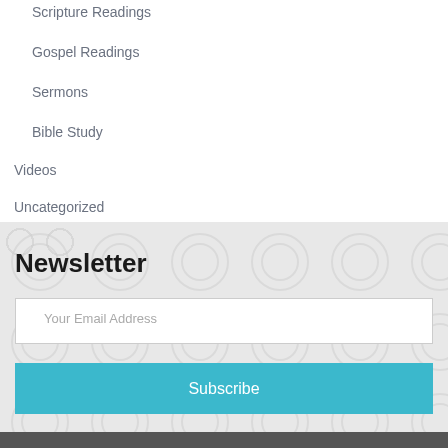Scripture Readings
Gospel Readings
Sermons
Bible Study
Videos
Uncategorized
Newsletter
Your Email Address
Subscribe